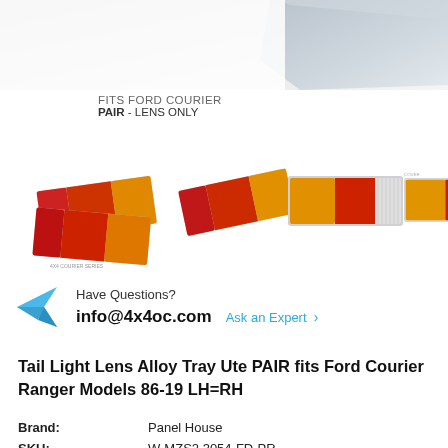[Figure (photo): Partial image of a product box top-right corner with grey cardboard texture]
FITS FORD COURIER
PAIR – LENS ONLY
[Figure (photo): Four thumbnail images of tail light lenses for Ford Courier/Ranger showing amber, red and clear sections]
Have Questions?
info@4x4oc.com  Ask an Expert >
Tail Light Lens Alloy Tray Ute PAIR fits Ford Courier Ranger Models 86-19 LH=RH
| Brand: | Panel House |
| SKU: | W-MZS2.3054-FD-PR |